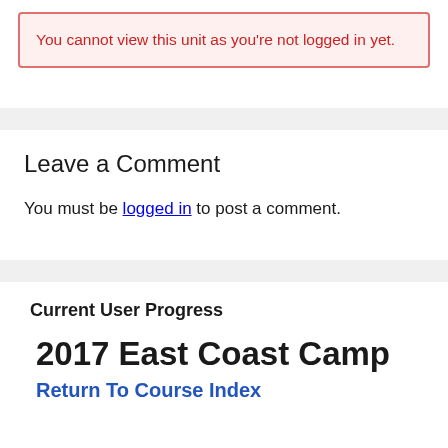You cannot view this unit as you're not logged in yet.
Leave a Comment
You must be logged in to post a comment.
Current User Progress
2017 East Coast Camp
Return To Course Index